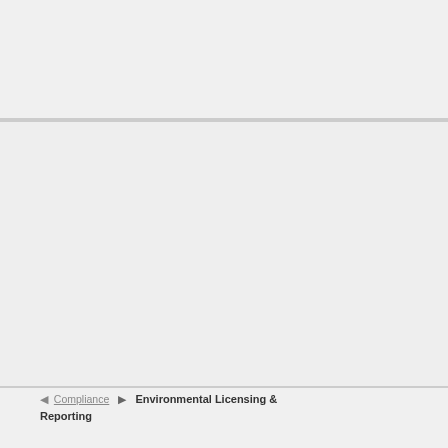◀ [nav text] ▶ Environmental Licensing & Reporting